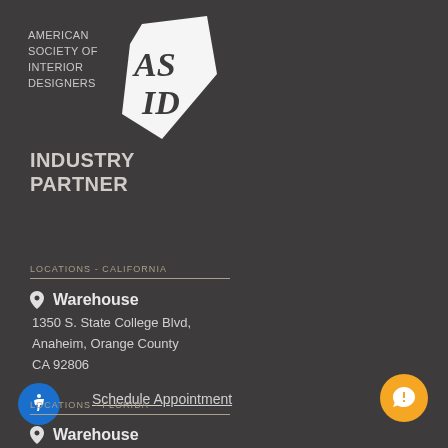[Figure (logo): ASID American Society of Interior Designers logo with ASID monogram and Industry Partner text]
LOCATIONS - CALIFORNIA
Warehouse
1350 S. State College Blvd,
Anaheim, Orange County
CA 92806
Schedule Appointment
LOCATIONS - FLORIDA
Warehouse